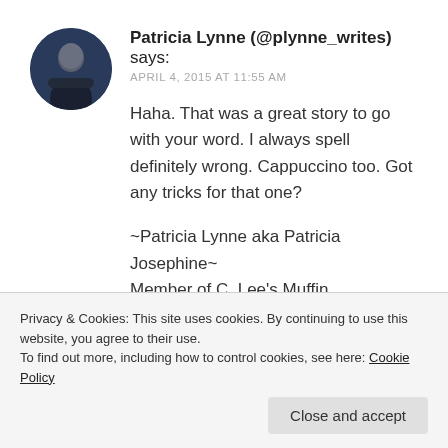[Figure (photo): Circular avatar photo of Patricia Lynne showing a person in dark clothing]
Patricia Lynne (@plynne_writes) says:
APRIL 4, 2015 AT 11:55 AM
Haha. That was a great story to go with your word. I always spell definitely wrong. Cappuccino too. Got any tricks for that one?

~Patricia Lynne aka Patricia Josephine~
Member of C. Lee's Muffin Commando Squad
Story Dam
Privacy & Cookies: This site uses cookies. By continuing to use this website, you agree to their use.
To find out more, including how to control cookies, see here: Cookie Policy
Close and accept